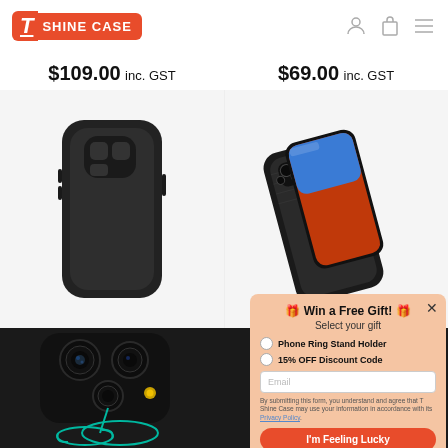[Figure (logo): T Shine Case logo with red badge and white text]
[Figure (illustration): Navigation icons: user profile, shopping bag, hamburger menu]
$109.00 inc. GST
$69.00 inc. GST
[Figure (photo): Black silicone iPhone case shown from the back, smooth finish with camera cutout]
[Figure (photo): Black brushed iPhone case shown at an angle, with screen visible]
[Figure (photo): Close-up of iPhone back camera area with a ring stand holder in teal/green circle animation]
🎁 Win a Free Gift! 🎁
Select your gift
Phone Ring Stand Holder
15% OFF Discount Code
Email
By submitting this form, you understand and agree that T Shine Case may use your information in accordance with its Privacy Policy.
I'm Feeling Lucky